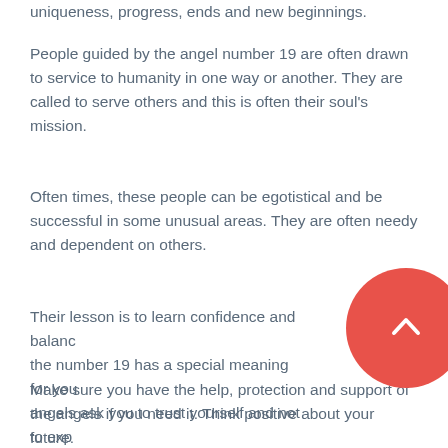uniqueness, progress, ends and new beginnings.
People guided by the angel number 19 are often drawn to service to humanity in one way or another. They are called to serve others and this is often their soul's mission.
Often times, these people can be egotistical and be successful in some unusual areas. They are often needy and dependent on others.
Their lesson is to learn confidence and balance, the number 19 has a special meaning for you, angels ask you to trust yourself and not to expect others to help you.
Make sure you have the help, protection and support of the angels if you need it. Think positive about your future.